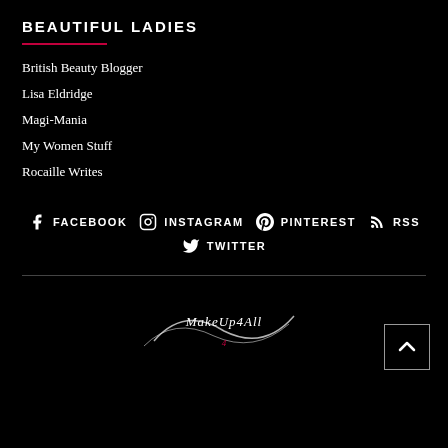BEAUTIFUL LADIES
British Beauty Blogger
Lisa Eldridge
Magi-Mania
My Women Stuff
Rocaille Writes
FACEBOOK  INSTAGRAM  PINTEREST  RSS  TWITTER
[Figure (logo): MakeUp4All cursive script logo in white and red on black background]
[Figure (other): Back to top arrow button, square outline with upward chevron]